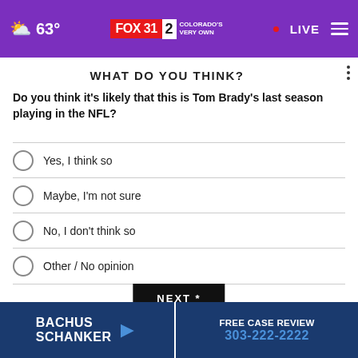63° FOX 31 2 COLORADO'S VERY OWN • LIVE
WHAT DO YOU THINK?
Do you think it's likely that this is Tom Brady's last season playing in the NFL?
Yes, I think so
Maybe, I'm not sure
No, I don't think so
Other / No opinion
NEXT *
* By clicking "NEXT" you agree to the following: We use cookies to track your survey answers. If you would like to continue with this survey, please read and agree to the CivicScience Privacy Policy and Terms of Service
[Figure (other): Bachus Schanker Free Case Review 303-222-2222 advertisement banner]